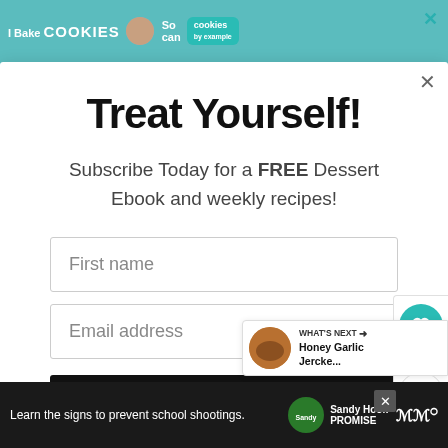[Figure (screenshot): Top banner advertisement for a cookie baking website with teal background, showing 'I Bake COOKIES' text, a woman's photo, 'So can' text, and a green cookies button with X close button]
Treat Yourself!
Subscribe Today for a FREE Dessert Ebook and weekly recipes!
First name
Email address
Subscribe
[Figure (infographic): Sidebar with teal heart circle icon showing 1.6K count and share icon below]
[Figure (infographic): What's Next panel showing a round food image thumbnail with text 'WHAT'S NEXT' and 'Honey Garlic Jercke...']
[Figure (screenshot): Bottom advertisement bar with dark background showing 'Learn the signs to prevent school shootings.' with Sandy Hook Promise logo and MW logo]